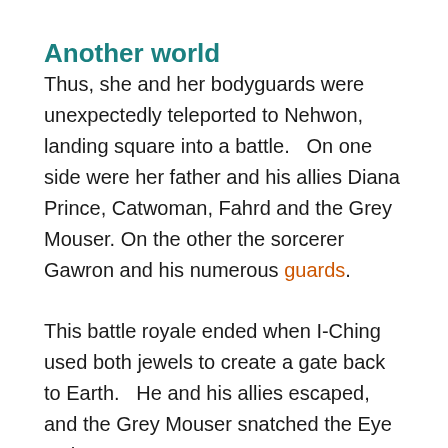Another world
Thus, she and her bodyguards were unexpectedly teleported to Nehwon, landing square into a battle.   On one side were her father and his allies Diana Prince, Catwoman, Fahrd and the Grey Mouser.  On the other the sorcerer Gawron and his numerous guards.
This battle royale ended when I-Ching used both jewels to create a gate back to Earth.   He and his allies escaped, and the Grey Mouser snatched the Eye as he ran